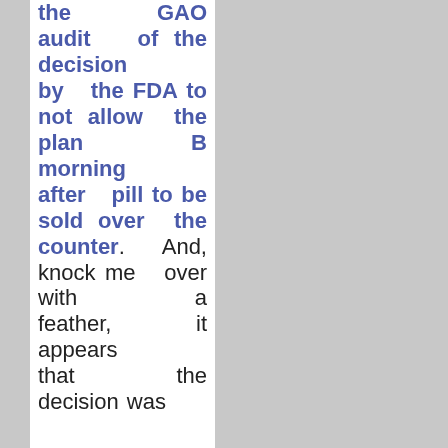the GAO audit of the decision by the FDA to not allow the plan B morning after pill to be sold over the counter. And, knock me over with a feather, it appears that the decision was